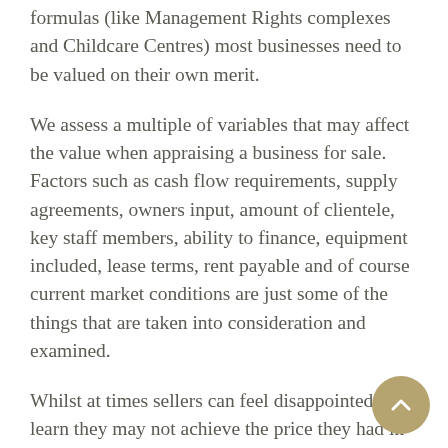formulas (like Management Rights complexes and Childcare Centres) most businesses need to be valued on their own merit.
We assess a multiple of variables that may affect the value when appraising a business for sale. Factors such as cash flow requirements, supply agreements, owners input, amount of clientele, key staff members, ability to finance, equipment included, lease terms, rent payable and of course current market conditions are just some of the things that are taken into consideration and examined.
Whilst at times sellers can feel disappointed to learn they may not achieve the price they had in mind, often